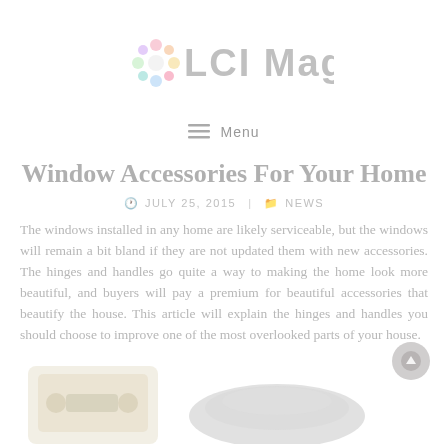[Figure (logo): LCI Mag logo with colorful snowflake/flower icon and grey text 'LCI Mag']
☰ Menu
Window Accessories For Your Home
JULY 25, 2015  NEWS
The windows installed in any home are likely serviceable, but the windows will remain a bit bland if they are not updated them with new accessories. The hinges and handles go quite a way to making the home look more beautiful, and buyers will pay a premium for beautiful accessories that beautify the house. This article will explain the hinges and handles you should choose to improve one of the most overlooked parts of your house.
[Figure (photo): Partial image of window hardware accessory on the left side]
[Figure (photo): Partial image of a curved window handle/accessory on the right side]